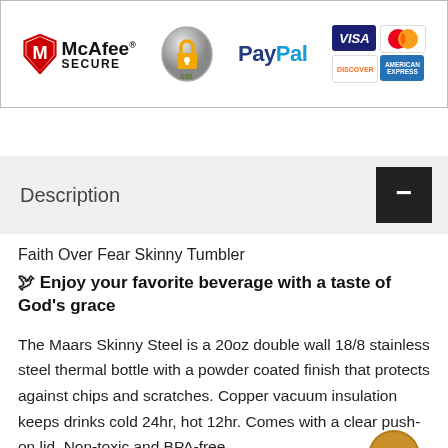[Figure (logo): Trust and security badges: McAfee SECURE, SSL padlock, PayPal, Visa, MasterCard, Discover, American Express]
Description
Faith Over Fear Skinny Tumbler
🕊 Enjoy your favorite beverage with a taste of God's grace
The Maars Skinny Steel is a 20oz double wall 18/8 stainless steel thermal bottle with a powder coated finish that protects against chips and scratches. Copper vacuum insulation keeps drinks cold 24hr, hot 12hr. Comes with a clear push-on lid. Non-toxic and BPA-free.